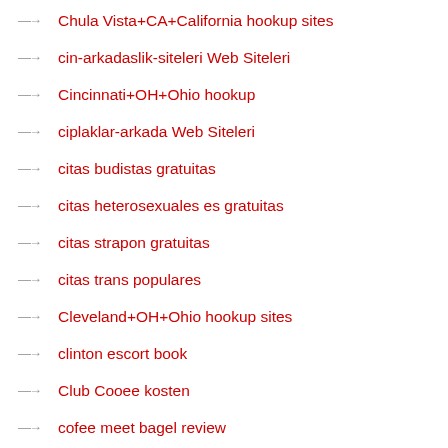Chula Vista+CA+California hookup sites
cin-arkadaslik-siteleri Web Siteleri
Cincinnati+OH+Ohio hookup
ciplaklar-arkada Web Siteleri
citas budistas gratuitas
citas heterosexuales es gratuitas
citas strapon gratuitas
citas trans populares
Cleveland+OH+Ohio hookup sites
clinton escort book
Club Cooee kosten
cofee meet bagel review
cofee meet bagel szukaj wedlug nazwy
coffee meets bagel nedir
coffee meets bagel pl review
coffee meets bagel reviews
CollarSpace find out here
Collarspace review
College free dating sites
College Hookup Apps dating